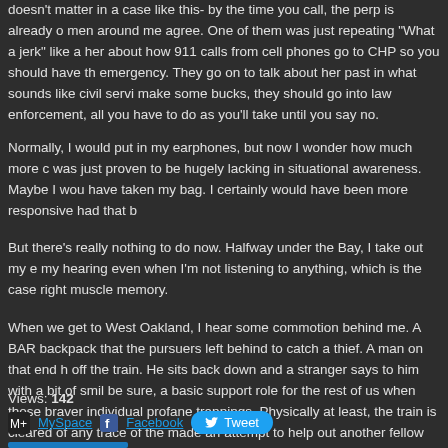doesn't matter in a case like this- by the time you call, the perp is already o men around me agree. One of them was just repeating "What a jerk" like a her about how 911 calls from cell phones go to CHP so you should have th emergency. They go on to talk about her past in what sounds like civil servi make some bucks, they should go into law enforcement, all you have to do as you'll take until you say no.
Normally, I would put in my earphones, but now I wonder how much more c was just proven to be hugely lacking in situational awareness. Maybe I wou have taken my bag. I certainly would have been more responsive had that b
But there's really nothing to do now. Halfway under the Bay, I take out my e my hearing even when I'm not listening to anything, which is the case right muscle memory.
When we get to West Oakland, I hear some commotion behind me. A BART backpack that the pursuers left behind to catch a thief. A man on that end h off the train. He sits back down and a stranger says to him with a bit of smil be sure, a basic support role for the rest of us when those braver individual profane trappings. Physically at least, the train is cleared of any trace of the made an attempt to help out another fellow human.
Views: 142
MySpace  Facebook  Tweet